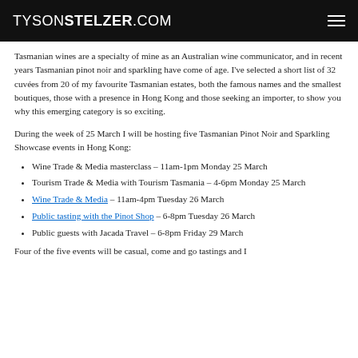TYSONSTELZER.COM
Tasmanian wines are a specialty of mine as an Australian wine communicator, and in recent years Tasmanian pinot noir and sparkling have come of age. I've selected a short list of 32 cuvées from 20 of my favourite Tasmanian estates, both the famous names and the smallest boutiques, those with a presence in Hong Kong and those seeking an importer, to show you why this emerging category is so exciting.
During the week of 25 March I will be hosting five Tasmanian Pinot Noir and Sparkling Showcase events in Hong Kong:
Wine Trade & Media masterclass – 11am-1pm Monday 25 March
Tourism Trade & Media with Tourism Tasmania – 4-6pm Monday 25 March
Wine Trade & Media – 11am-4pm Tuesday 26 March
Public tasting with the Pinot Shop – 6-8pm Tuesday 26 March
Public guests with Jacada Travel – 6-8pm Friday 29 March
Four of the five events will be casual, come and go tastings and I